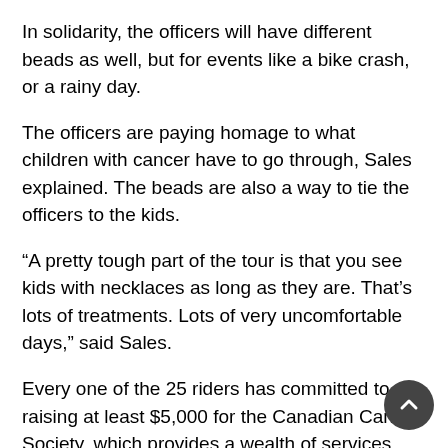In solidarity, the officers will have different beads as well, but for events like a bike crash, or a rainy day.
The officers are paying homage to what children with cancer have to go through, Sales explained. The beads are also a way to tie the officers to the kids.
“A pretty tough part of the tour is that you see kids with necklaces as long as they are. That’s lots of treatments. Lots of very uncomfortable days,” said Sales.
Every one of the 25 riders has committed to raising at least $5,000 for the Canadian Cancer Society, which provides a wealth of services and information about the disease. CCS also supports Camp Goodtimes, a unique summer camp for children with cancer and their families.